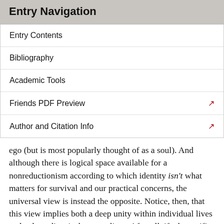Entry Navigation
Entry Contents
Bibliography
Academic Tools
Friends PDF Preview
Author and Citation Info
ego (but is most popularly thought of as a soul). And although there is logical space available for a nonreductionism according to which identity isn't what matters for survival and our practical concerns, the universal view is instead the opposite. Notice, then, that this view implies both a deep unity within individual lives and a deep disunity between lives. After all, if what unifies my life is a particular persisting ego-substance, and that substance is wholly present at every stage of my life, then every temporal slice of my life is just as much a part of me as every other, so if prudential concern is